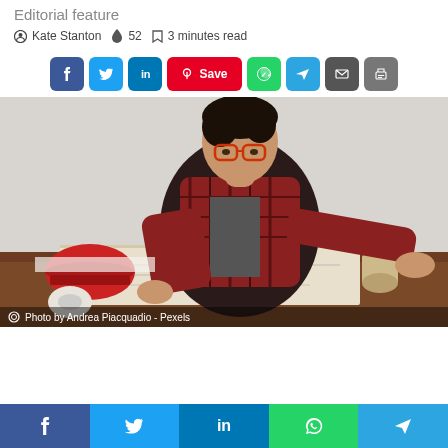Editorial feature
Kate Stanton  🔥 52  🔖 3 minutes read
[Figure (other): Social share buttons row: Facebook, Twitter, LinkedIn, Pinterest Save, WhatsApp, Telegram, Email, Print]
[Figure (photo): Man with red-framed glasses wearing a plaid shirt leaning over a desk drawing on blueprints, with a red hard hat and rolled blueprints visible. Photo by Andrea Piacquadio - Pexels]
Photo by Andrea Piacquadio - Pexels
[Figure (other): Bottom sticky share bar with Facebook, Twitter, LinkedIn, WhatsApp, Telegram buttons]